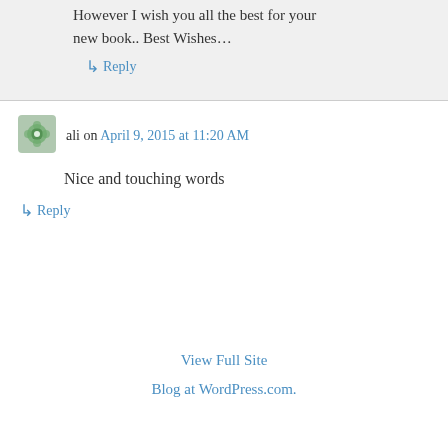However I wish you all the best for your new book.. Best Wishes…
↳ Reply
ali on April 9, 2015 at 11:20 AM
Nice and touching words
↳ Reply
View Full Site
Blog at WordPress.com.